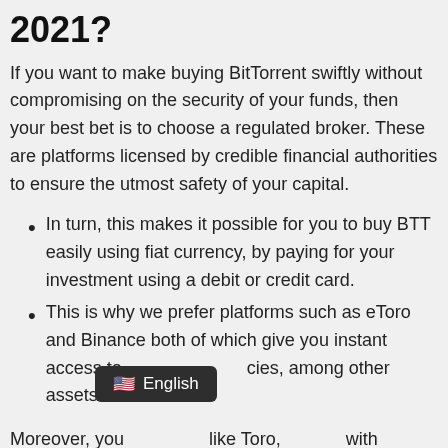2021?
If you want to make buying BitTorrent swiftly without compromising on the security of your funds, then your best bet is to choose a regulated broker. These are platforms licensed by credible financial authorities to ensure the utmost safety of your capital.
In turn, this makes it possible for you to buy BTT easily using fiat currency, by paying for your investment using a debit or credit card.
This is why we prefer platforms such as eToro and Binance both of which give you instant access to cryptocurrencies, among other assets.
Moreover, you could also use platforms like Toro, along with...